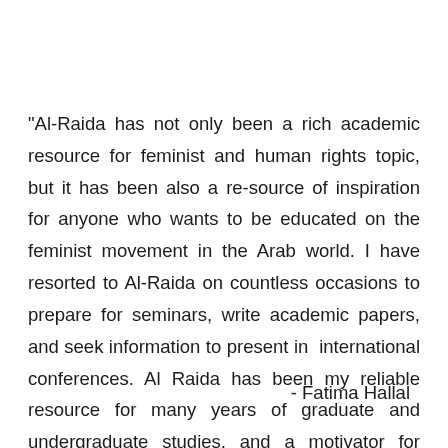"Al-Raida has not only been a rich academic resource for feminist and human rights topic, but it has been also a re-source of inspiration for anyone who wants to be educated on the feminist movement in the Arab world. I have resorted to Al-Raida on countless occasions to prepare for seminars, write academic papers, and seek information to present in  international conferences. Al Raida has been my reliable resource for many years of graduate and undergraduate studies, and a motivator for deeper research on the women movement in the region."
- Fatima Hallal